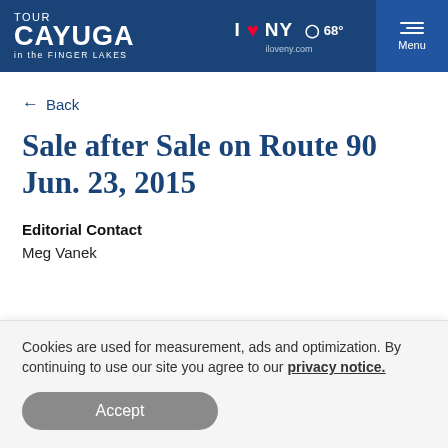TOUR CAYUGA in the FINGER LAKES | I❤NY 68° iloveny.com | Menu
← Back
Sale after Sale on Route 90 Jun. 23, 2015
Editorial Contact
Meg Vanek
Cookies are used for measurement, ads and optimization. By continuing to use our site you agree to our privacy notice.
Accept